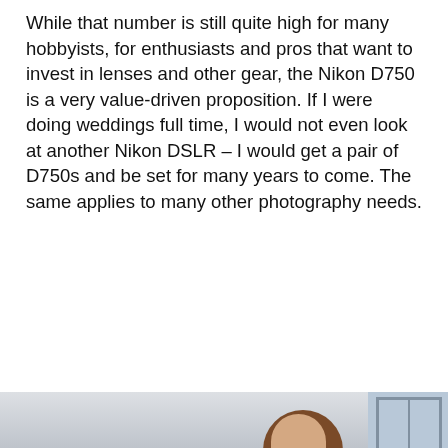While that number is still quite high for many hobbyists, for enthusiasts and pros that want to invest in lenses and other gear, the Nikon D750 is a very value-driven proposition. If I were doing weddings full time, I would not even look at another Nikon DSLR – I would get a pair of D750s and be set for many years to come. The same applies to many other photography needs.
[Figure (photo): Partial photo of a woman with brown hair, appearing to be outdoors near a building with a window visible on the right side. The bottom portion of the image transitions into a black video player area with a play button.]